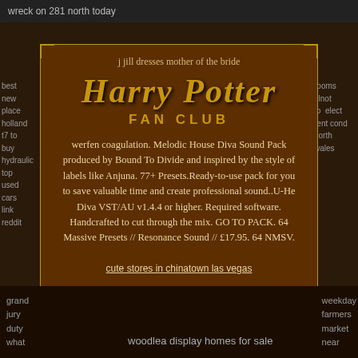wreck on 281 north today
j jill dresses mother of the bride
Harry Potter FAN CLUB
werfen coagulation. Melodic House Diva Sound Pack produced by Bound To Divide and inspired by the style of labels like Anjuna. 77+ Presets.Ready-to-use pack for you to save valuable time and create professional sound..U-He Diva VST/AU v1.4.4 or higher. Required software. Handcrafted to cut through the mix. GO TO PACK. 64 Massive Presets // Resonance Sound // £17.95. 64 NMSV.
cute stores in chinatown las vegas
grand jury duty what
best new place holland t7 to buy hydraulic top used cars link reddit
rooms elnot to elect rent cond north wales
woodlea display homes for sale
weekday farmers market near